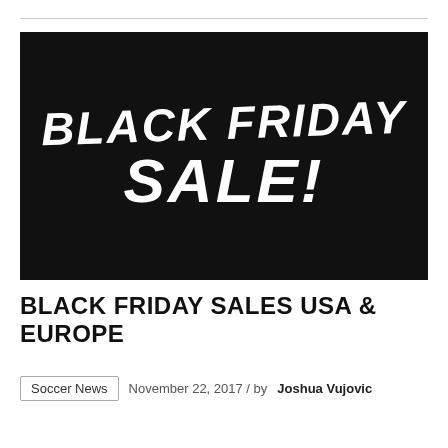[Figure (illustration): Black background promotional image with white hand-drawn style text reading 'BLACK FRIDAY SALE!']
BLACK FRIDAY SALES USA & EUROPE
Soccer News   November 22, 2017 / by Joshua Vujovic